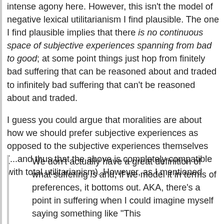intense agony here. However, this isn't the model of negative lexical utilitarianism I find plausible. The one I find plausible implies that there is no continuous space of subjective experiences spanning from bad to good; at some point things just hop from finitely bad suffering that can be reasoned about and traded to infinitely bad suffering that can't be reasoned about and traded.
I guess you could argue that moralities are about how we should prefer subjective experiences as opposed to the subjective experiences themselves (...and thus that the above is completely compatible with total utilitarianism). However, as I mentioned
We don't actually have a great definition of what suffering is and, if we model it in terms of preferences, it bottoms out. AKA, there's a point in suffering when I could imagine myself saying something like "This